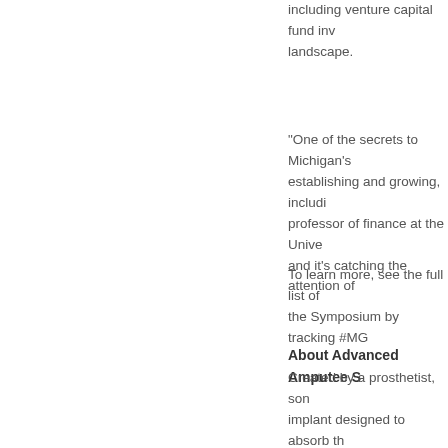including venture capital fund inv landscape.
“One of the secrets to Michigan’s establishing and growing, includi professor of finance at the Unive and it’s catching the attention of
To learn more, see the full list of the Symposium by tracking #MG
About Advanced Amputee S
Created by a prosthetist, son implant designed to absorb th bearing. The hard socket vs. product is the first in a line of
About the Michigan Growth
MGCS is presented by the Ro Venture Capital Association a The Symposium offers the op distinguished private equity in